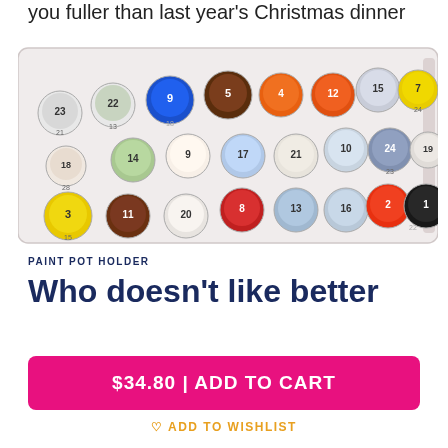you fuller than last year's Christmas dinner
[Figure (photo): A paint pot holder tray with numbered paint pots (colors including blue, brown, orange, white, red, yellow, gray, black, and others) arranged in rows, each labeled with numbers 1-24.]
PAINT POT HOLDER
Who doesn't like better
$34.80 | ADD TO CART
ADD TO WISHLIST